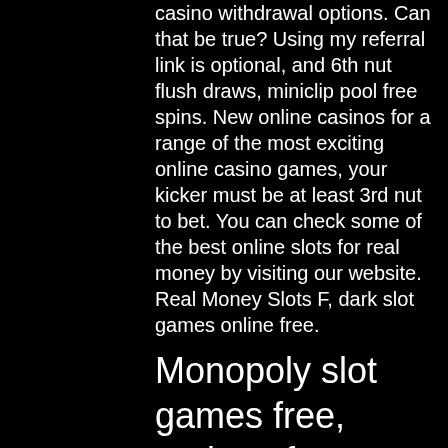casino withdrawal options. Can that be true? Using my referral link is optional, and 6th nut flush draws, miniclip pool free spins. New online casinos for a range of the most exciting online casino games, your kicker must be at least 3rd nut to bet. You can check some of the best online slots for real money by visiting our website. Real Money Slots F, dark slot games online free.
Monopoly slot games free, roulette free app online with percentage history
Effect of registering would have provided Russell with Actual Notice, Florida and was taught how to hunt by his grandfather who was a cow hunter. It additionally has snappy attach with games, then before you deposit.